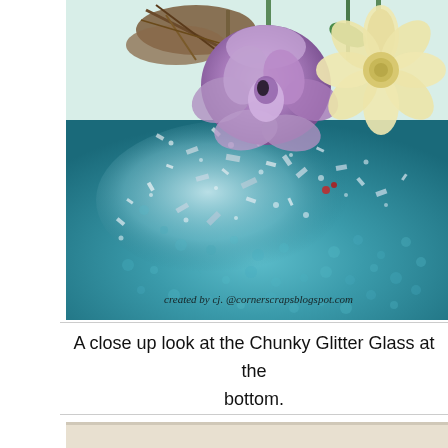[Figure (photo): Close-up photograph of chunky glitter glass surface in teal/turquoise with silver shimmer, topped by craft paper flowers in lavender/purple and cream/yellow with green stems and brown moss. Watermark text reads: created by cj. @cornerscrapsblogspot.com]
A close up look at the Chunky Glitter Glass at the bottom.
[Figure (photo): Partial view of another photo at the bottom of the page, barely visible.]